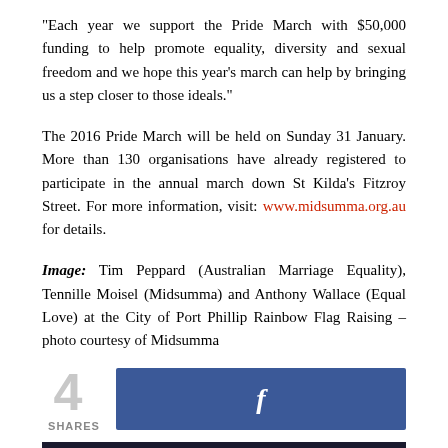“Each year we support the Pride March with $50,000 funding to help promote equality, diversity and sexual freedom and we hope this year’s march can help by bringing us a step closer to those ideals.”
The 2016 Pride March will be held on Sunday 31 January. More than 130 organisations have already registered to participate in the annual march down St Kilda’s Fitzroy Street. For more information, visit: www.midsumma.org.au for details.
Image: Tim Peppard (Australian Marriage Equality), Tennille Moisel (Midsumma) and Anthony Wallace (Equal Love) at the City of Port Phillip Rainbow Flag Raising – photo courtesy of Midsumma
4 SHARES
[Figure (other): Facebook share button with blue background and white f logo]
[Figure (photo): Promotional banner reading 'Plan that road trip darlings' with pink text on dark background]